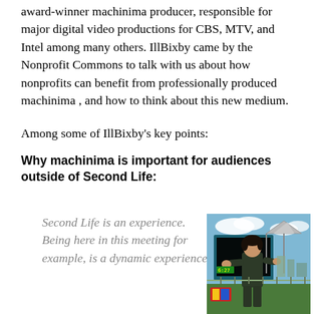award-winner machinima producer, responsible for major digital video productions for CBS, MTV, and Intel among many others. IllBixby came by the Nonprofit Commons to talk with us about how nonprofits can benefit from professionally produced machinima , and how to think about this new medium.
Among some of IllBixby's key points:
Why machinima is important for audiences outside of Second Life:
Second Life is an experience. Being here in this meeting for example, is a dynamic experience
[Figure (photo): Screenshot from Second Life virtual world showing a 3D avatar character (dark-haired person in dark shirt) standing in front of a large display screen/billboard in an outdoor virtual environment with blue sky and clouds]